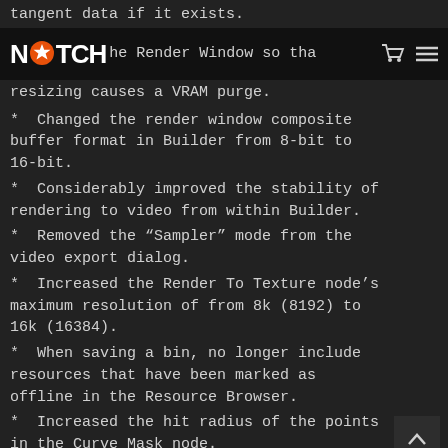tangent data if it exists.
NOTCH - he Render Window so that resizing causes a VRAM purge.
* Changed the render window composite buffer format in Builder from 8-bit to 16-bit.
* Considerably improved the stability of rendering to video from within Builder.
* Removed the “Sampler” mode from the video export dialog.
* Increased the Render To Texture node’s maximum resolution of from 8k (8192) to 16k (16384).
* When saving a bin, no longer include resources that have been marked as offline in the Resource Browser.
* Increased the hit radius of the points in the Curve Mask node.
* Improved the Face Tracker node to detect open mouths better.